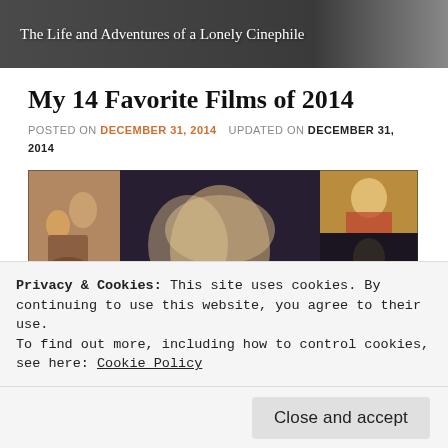The Life and Adventures of a Lonely Cinephile
My 14 Favorite Films of 2014
POSTED ON DECEMBER 31, 2014   UPDATED ON DECEMBER 31, 2014
[Figure (photo): Collage of movie stills from 2014 films, arranged in a grid with large '2014' numerals overlaid in the center]
Privacy & Cookies: This site uses cookies. By continuing to use this website, you agree to their use.
To find out more, including how to control cookies, see here: Cookie Policy
Close and accept